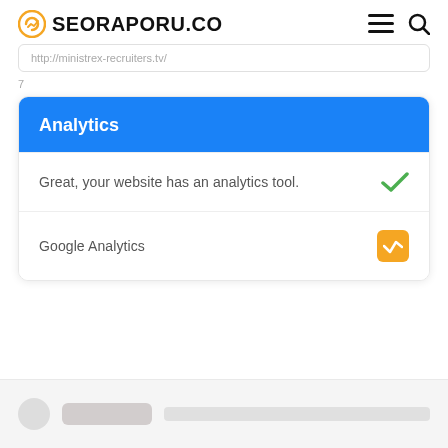SEORAPORU.CO
http://ministrex-recruiters.tv/
Analytics
Great, your website has an analytics tool.
Google Analytics